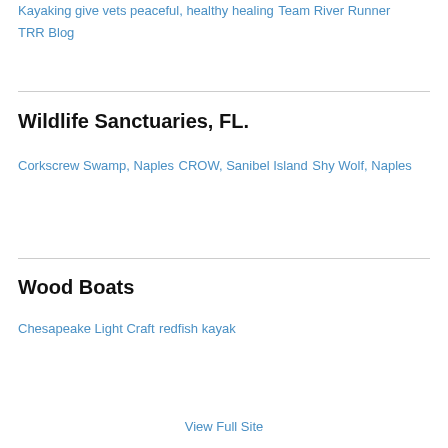Kayaking give vets peaceful, healthy healing
Team River Runner
TRR Blog
Wildlife Sanctuaries, FL.
Corkscrew Swamp, Naples
CROW, Sanibel Island
Shy Wolf, Naples
Wood Boats
Chesapeake Light Craft
redfish kayak
View Full Site